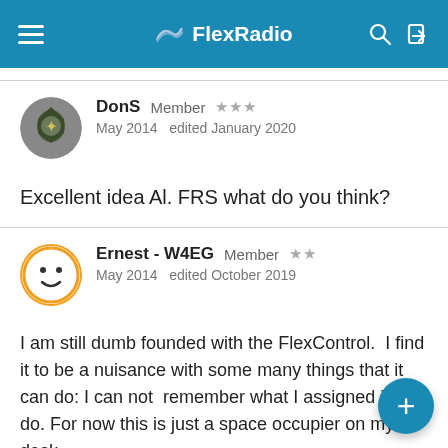FlexRadio
DonS  Member  ★★★
May 2014  edited January 2020
Excellent idea Al. FRS what do you think?
Ernest - W4EG  Member  ★★
May 2014  edited October 2019
I am still dumb founded with the FlexControl.  I find it to be a nuisance with some many things that it can do: I can not  remember what I assigned it to do. For now this is just a space occupier on my desk.
I find my mouse to be more agile than this device.  No